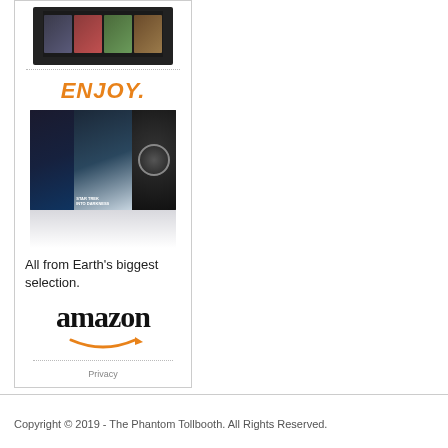[Figure (illustration): Amazon advertisement banner featuring a Kindle device at top with movie cover tiles, 'ENJOY.' in orange text, movie poster collage (Star Trek Into Darkness and others), tagline 'All from Earth's biggest selection.', and the Amazon logo with smile arrow. Privacy link at bottom.]
Copyright © 2019 - The Phantom Tollbooth. All Rights Reserved.